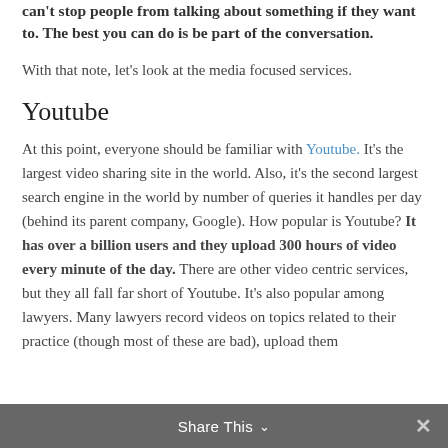You can't stop people from talking about something if they want to. The best you can do is be part of the conversation.
With that note, let's look at the media focused services.
Youtube
At this point, everyone should be familiar with Youtube. It's the largest video sharing site in the world. Also, it's the second largest search engine in the world by number of queries it handles per day (behind its parent company, Google). How popular is Youtube? It has over a billion users and they upload 300 hours of video every minute of the day. There are other video centric services, but they all fall far short of Youtube. It's also popular among lawyers. Many lawyers record videos on topics related to their practice (though most of these are bad), upload them
Share This